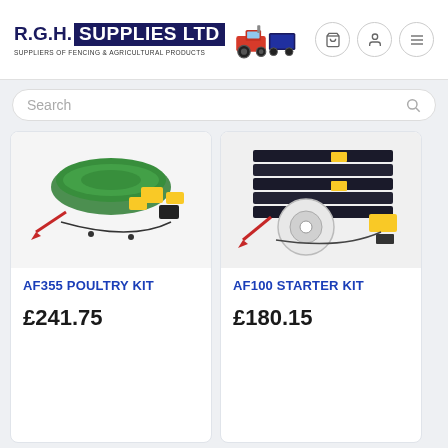R.G.H. SUPPLIES LTD — SUPPLIERS OF FENCING & AGRICULTURAL PRODUCTS
Search
[Figure (photo): AF355 Poultry Kit product image showing green netting roll, yellow warning tags, and fencing accessories on white background]
AF355 POULTRY KIT
£241.75
[Figure (photo): AF100 Starter Kit product image showing black posts/rails bundle, yellow tags, reel and fencing accessories on white background]
AF100 STARTER KIT
£180.15